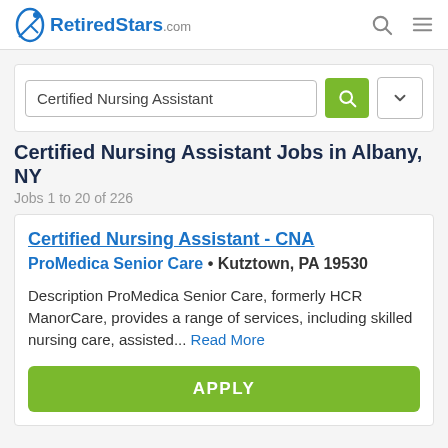RetiredStars.com
Certified Nursing Assistant
Certified Nursing Assistant Jobs in Albany, NY
Jobs 1 to 20 of 226
Certified Nursing Assistant - CNA
ProMedica Senior Care • Kutztown, PA 19530
Description ProMedica Senior Care, formerly HCR ManorCare, provides a range of services, including skilled nursing care, assisted... Read More
APPLY